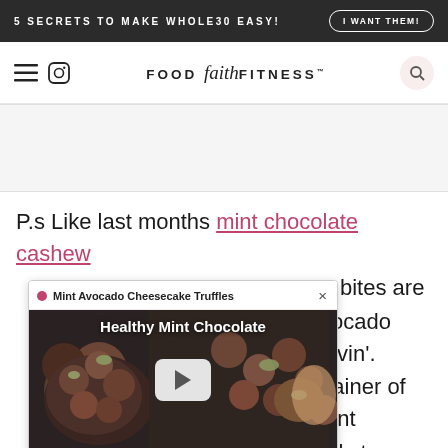5 SECRETS TO MAKE WHOLE30 EASY! | I WANT THEM!
FOOD faith FITNESS™
[Figure (other): Advertisement placeholder area]
P.s Like last months mint chocolate cashew bites are no ordinary avocado lovin'. Have a container of mint chocolate only to discover i
[Figure (screenshot): Popup video card: Mint Avocado Cheesecake Truffles - Healthy Mint Chocolate Chip Cheesecake Bites video thumbnail with play button]